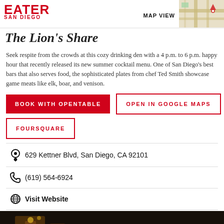EATER SAN DIEGO
The Lion's Share
Seek respite from the crowds at this cozy drinking den with a 4 p.m. to 6 p.m. happy hour that recently released its new summer cocktail menu. One of San Diego's best bars that also serves food, the sophisticated plates from chef Ted Smith showcase game meats like elk, boar, and venison.
BOOK WITH OPENTABLE
OPEN IN GOOGLE MAPS
FOURSQUARE
629 Kettner Blvd, San Diego, CA 92101
(619) 564-6924
Visit Website
[Figure (photo): Dark interior photo of a bar, showing warm amber lighting and bar fixtures against a dark background]